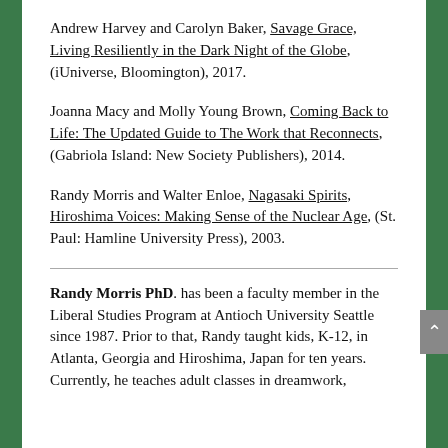Andrew Harvey and Carolyn Baker, Savage Grace, Living Resiliently in the Dark Night of the Globe, (iUniverse, Bloomington), 2017.
Joanna Macy and Molly Young Brown, Coming Back to Life: The Updated Guide to The Work that Reconnects, (Gabriola Island: New Society Publishers), 2014.
Randy Morris and Walter Enloe, Nagasaki Spirits, Hiroshima Voices: Making Sense of the Nuclear Age, (St. Paul: Hamline University Press), 2003.
Randy Morris PhD. has been a faculty member in the Liberal Studies Program at Antioch University Seattle since 1987. Prior to that, Randy taught kids, K-12, in Atlanta, Georgia and Hiroshima, Japan for ten years. Currently, he teaches adult classes in dreamwork,